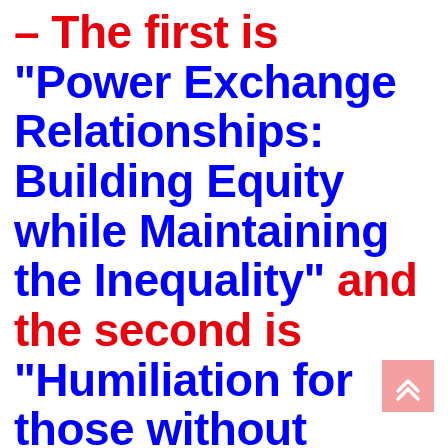– The first is “Power Exchange Relationships: Building Equity while Maintaining the Inequality” and the second is “Humiliation for those without
[Figure (other): A salmon/pink square button with double up-arrow chevron icon (back-to-top button)]